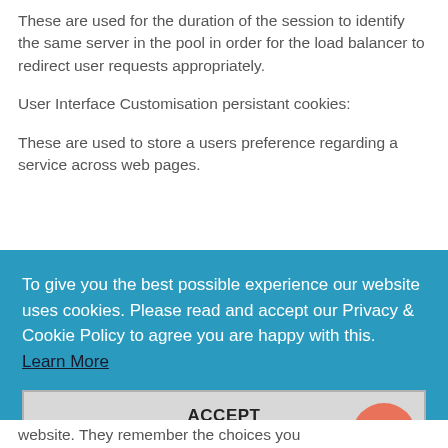These are used for the duration of the session to identify the same server in the pool in order for the load balancer to redirect user requests appropriately.
User Interface Customisation persistant cookies:
These are used to store a users preference regarding a service across web pages.
To give you the best possible experience our website uses cookies. Please read and accept our Privacy & Cookie Policy to agree you are happy with this.  Learn More
ACCEPT
website. They remember the choices you